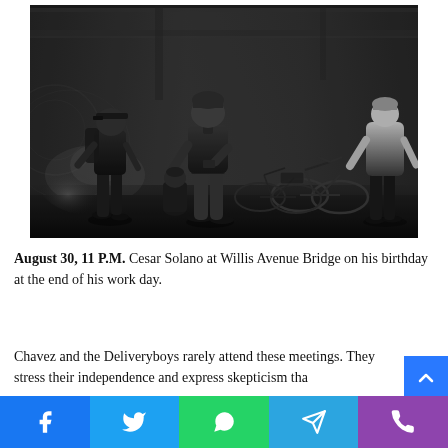[Figure (photo): Black and white photograph of delivery workers at Willis Avenue Bridge at night. Three men are visible standing near bicycles parked against a wall. The man on the left wears a cap and backpack, the man in the center stands facing the camera, and a third man is visible on the right with his back turned.]
August 30, 11 P.M. Cesar Solano at Willis Avenue Bridge on his birthday at the end of his work day.
Chavez and the Deliveryboys rarely attend these meetings. They stress their independence and express skepticism tha...